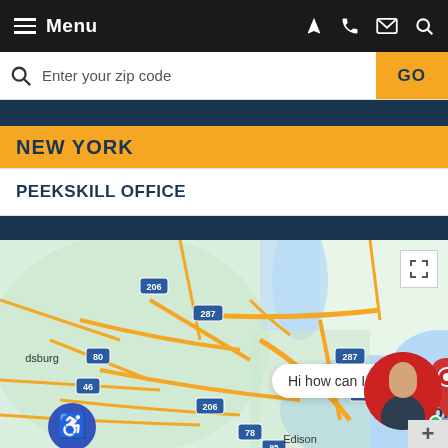Menu
Enter your zip code
NEW YORK
PEEKSKILL OFFICE
[Figure (map): Google Maps showing New York metro area with a red location pin near New York city, roads including routes 287, 206, 80, 46, 280, 78, 95, and labels for Bridgeport, Stamford, Edison, New York]
Hi how can I help?